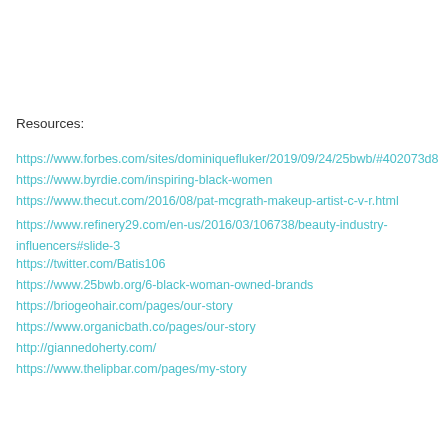Resources:
https://www.forbes.com/sites/dominiquefluker/2019/09/24/25bwb/#402073d8
https://www.byrdie.com/inspiring-black-women
https://www.thecut.com/2016/08/pat-mcgrath-makeup-artist-c-v-r.html
https://www.refinery29.com/en-us/2016/03/106738/beauty-industry-influencers#slide-3
https://twitter.com/Batis106
https://www.25bwb.org/6-black-woman-owned-brands
https://briogeohair.com/pages/our-story
https://www.organicbath.co/pages/our-story
http://giannedoherty.com/
https://www.thelipbar.com/pages/my-story